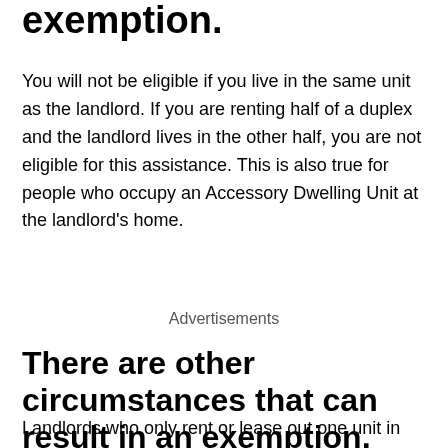exemption.
You will not be eligible if you live in the same unit as the landlord. If you are renting half of a duplex and the landlord lives in the other half, you are not eligible for this assistance. This is also true for people who occupy an Accessory Dwelling Unit at the landlord's home.
Advertisements
There are other circumstances that can result in an exemption, too.
Landlords who only rent or lease out one unit in the City of Portland are generally exempt from this